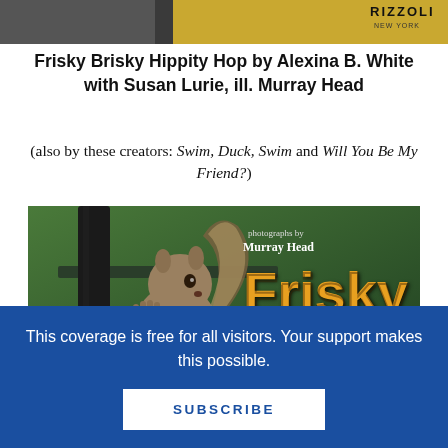[Figure (photo): Top partial book cover image showing a dark/gray section on left and golden background on right with Rizzoli New York logo]
Frisky Brisky Hippity Hop by Alexina B. White with Susan Lurie, ill. Murray Head
(also by these creators: Swim, Duck, Swim and Will You Be My Friend?)
[Figure (photo): Book cover of Frisky Brisky Hippity Hop showing a squirrel clinging to a dark fence post, with 'photographs by Murray Head' and 'Frisky Brisky' text in orange on a green background]
This coverage is free for all visitors. Your support makes this possible.
SUBSCRIBE